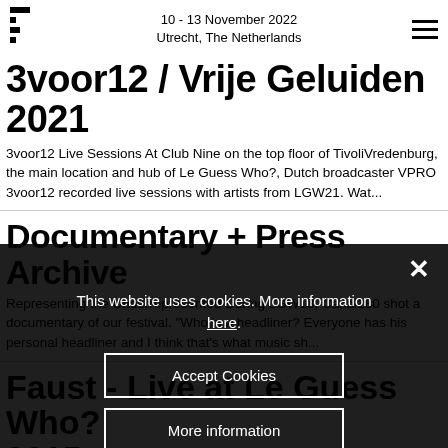10 - 13 November 2022 Utrecht, The Netherlands
3voor12 / Vrije Geluiden 2021
3voor12 Live Sessions At Club Nine on the top floor of TivoliVredenburg, the main location and hub of Le Guess Who?, Dutch broadcaster VPRO 3voor12 recorded live sessions with artists from LGW21. Wat...
Documentary + Press Archive
Representing the Underrepresented During LGW18, Canal180 shot a documentary of our festival. "Who is a headliner? Everyone has his personal headliner and I think that's what music sh...
Faust - Live at Le Guess Who? 2015
The Sai Anantam Ashram
This website uses cookies. More information here.
Accept Cookies
More information